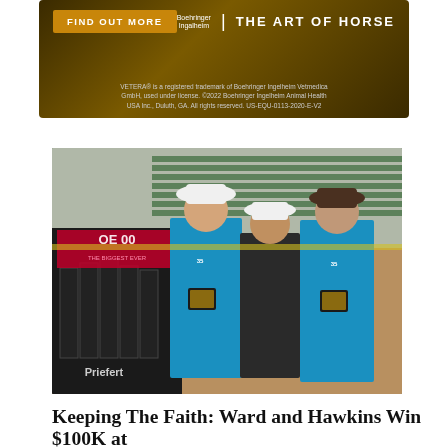[Figure (photo): Advertisement banner for Boehringer Ingelheim VETERA product with golden button 'FIND OUT MORE', Boehringer Ingelheim logo, and 'THE ART OF HORSE' text on dark gold background, with fine print trademark information.]
[Figure (photo): Three men standing in a rodeo arena. The two on the outside are wearing turquoise western shirts and white/dark cowboy hats, holding award buckles in display boxes. The man in the middle is older, wearing a black vest. A Priefert chute/equipment is visible on the left. Arena seating visible in background.]
Keeping The Faith: Ward and Hawkins Win $100K at